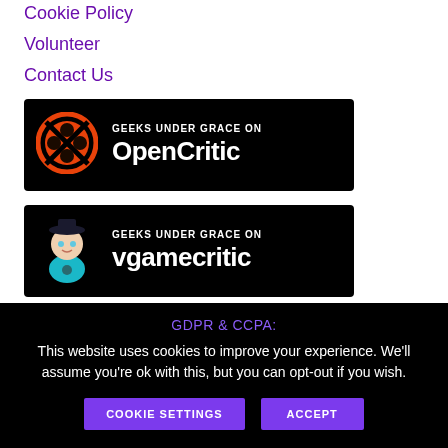Cookie Policy
Volunteer
Contact Us
[Figure (logo): Geeks Under Grace on OpenCritic banner - black background with orange OpenCritic logo and white text reading GEEKS UNDER GRACE ON OpenCritic]
[Figure (logo): Geeks Under Grace on vgamecritic banner - black background with teal anime character and white text reading GEEKS UNDER GRACE ON vgamecritic]
GDPR & CCPA:
This website uses cookies to improve your experience. We'll assume you're ok with this, but you can opt-out if you wish.